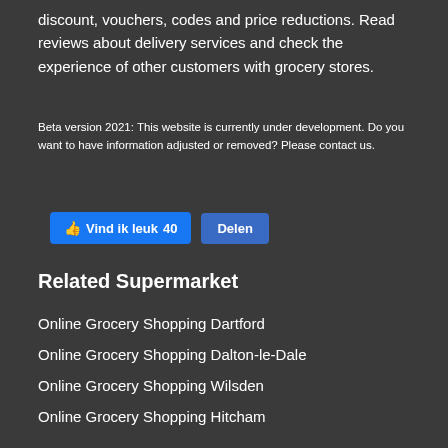discount, vouchers, codes and price reductions. Read reviews about delivery services and check the experience of other customers with grocery stores.
Beta version 2021: This website is currently under development. Do you want to have information adjusted or removed? Please contact us.
[Figure (other): Facebook social buttons: 'Vind ik leuk 40' (Like button in blue) and 'Delen' (Share button in blue)]
Related Supermarket
Online Grocery Shopping Dartford
Online Grocery Shopping Dalton-le-Dale
Online Grocery Shopping Wilsden
Online Grocery Shopping Hitcham